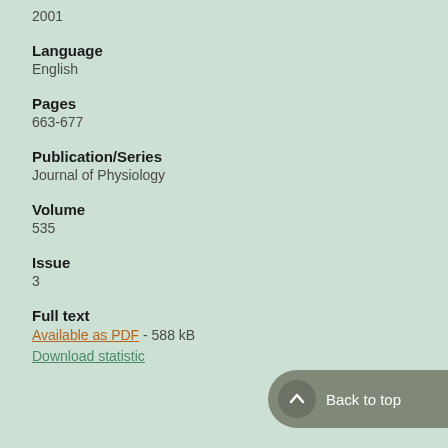2001
Language
English
Pages
663-677
Publication/Series
Journal of Physiology
Volume
535
Issue
3
Full text
Available as PDF - 588 kB
Download statistics